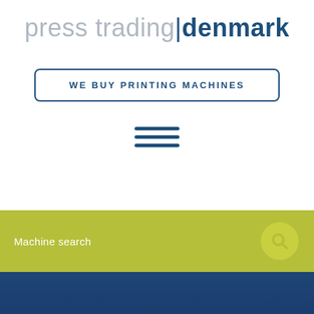press trading|denmark
WE BUY PRINTING MACHINES
[Figure (other): Hamburger menu icon with three horizontal lines in dark blue]
[Figure (other): Machine search bar with magnifying glass icon on olive/yellow-green background]
Privacy
[Figure (other): Language selector badge showing UK flag and EN label]